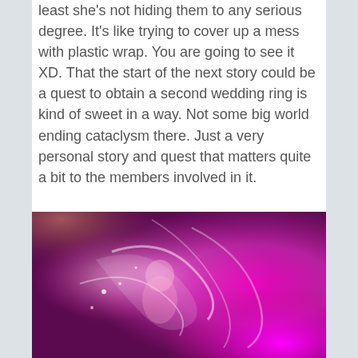least she's not hiding them to any serious degree. It's like trying to cover up a mess with plastic wrap. You are going to see it XD. That the start of the next story could be a quest to obtain a second wedding ring is kind of sweet in a way. Not some big world ending cataclysm there. Just a very personal story and quest that matters quite a bit to the members involved in it.
[Figure (illustration): Anime-style illustration of a character with pink and magenta energy/light effects, dynamic flowing composition with bright pinks, whites, and some yellow-green light in the upper left corner.]